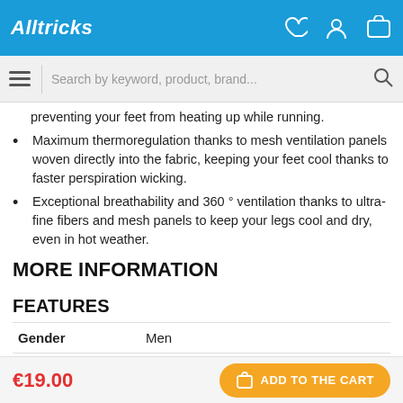Alltricks
preventing your feet from heating up while running.
Maximum thermoregulation thanks to mesh ventilation panels woven directly into the fabric, keeping your feet cool thanks to faster perspiration wicking.
Exceptional breathability and 360 ° ventilation thanks to ultra-fine fibers and mesh panels to keep your legs cool and dry, even in hot weather.
MORE INFORMATION
FEATURES
| Gender |  |
| --- | --- |
| Gender | Men |
€19.00  ADD TO THE CART